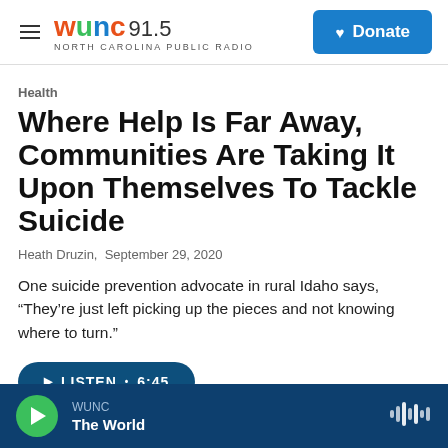WUNC 91.5 North Carolina Public Radio | Donate
Health
Where Help Is Far Away, Communities Are Taking It Upon Themselves To Tackle Suicide
Heath Druzin, September 29, 2020
One suicide prevention advocate in rural Idaho says, “They’re just left picking up the pieces and not knowing where to turn.”
LISTEN • 6:45
WUNC | The World